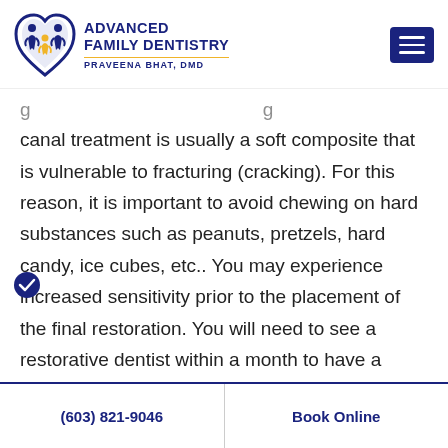[Figure (logo): Advanced Family Dentistry logo with blue heart and figures, gold accent, text reading ADVANCED FAMILY DENTISTRY PRAVEENA BHAT, DMD]
canal treatment is usually a soft composite that is vulnerable to fracturing (cracking). For this reason, it is important to avoid chewing on hard substances such as peanuts, pretzels, hard candy, ice cubes, etc.. You may experience increased sensitivity prior to the placement of the final restoration. You will need to see a restorative dentist within a month to have a permanent crown or filling placed. Please contact your restorative
(603) 821-9046   Book Online